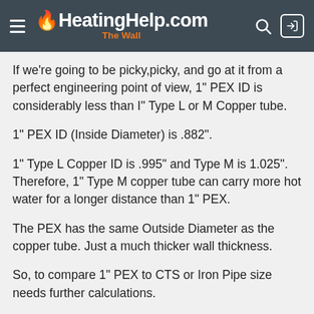HeatingHelp.com — The Wall
If we're going to be picky,picky, and go at it from a perfect engineering point of view, 1" PEX ID is considerably less than I" Type L or M Copper tube.
1" PEX ID (Inside Diameter) is .882".
1" Type L Copper ID is .995" and Type M is 1.025". Therefore, 1" Type M copper tube can carry more hot water for a longer distance than 1" PEX.
The PEX has the same Outside Diameter as the copper tube. Just a much thicker wall thickness.
So, to compare 1" PEX to CTS or Iron Pipe size needs further calculations.